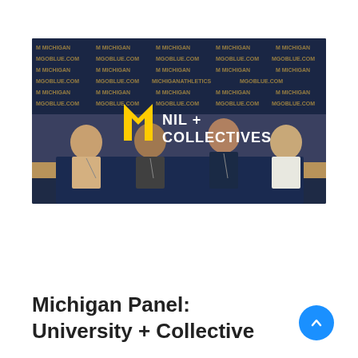[Figure (photo): Video thumbnail showing a panel discussion with four people seated at a table with a Michigan Athletics backdrop. Overlay shows the Michigan block M logo in gold with 'NIL + COLLECTIVES' text in white.]
Michigan Panel: University + Collective